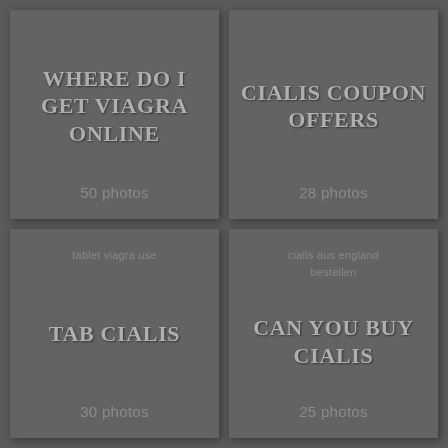[Figure (other): Grid of four photo album cards with titles and photo counts]
WHERE DO I GET VIAGRA ONLINE
50 photos
CIALIS COUPON OFFERS
28 photos
tablet viagra use
TAB CIALIS
30 photos
cialis aus england bestellen
CAN YOU BUY CIALIS
25 photos